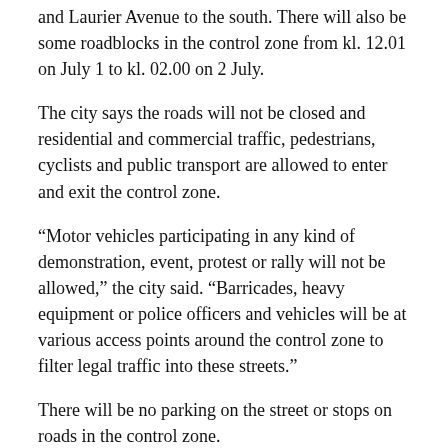and Laurier Avenue to the south. There will also be some roadblocks in the control zone from kl. 12.01 on July 1 to kl. 02.00 on 2 July.
The city says the roads will not be closed and residential and commercial traffic, pedestrians, cyclists and public transport are allowed to enter and exit the control zone.
“Motor vehicles participating in any kind of demonstration, event, protest or rally will not be allowed,” the city said. “Barricades, heavy equipment or police officers and vehicles will be at various access points around the control zone to filter legal traffic into these streets.”
There will be no parking on the street or stops on roads in the control zone.
The city is warning motorists and pedestrians planning to get to downtown Ottawa for Canada Day, to expect traffic delays around the motor vehicle control zone.
Canadian Heritage is organizing the main Canada Day...